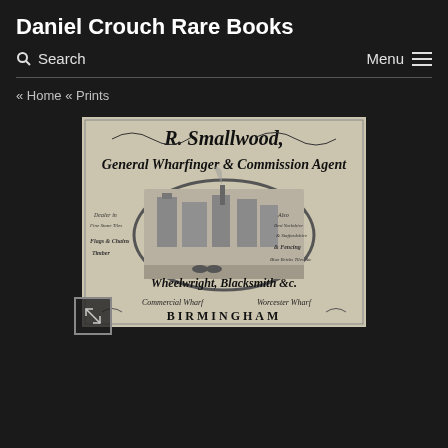Daniel Crouch Rare Books
Search   Menu
« Home « Prints
[Figure (photo): Antique trade card for R. Smallwood, General Wharfinger & Commission Agent, Wheelwright, Blacksmith &c., Birmingham. Features ornate calligraphic lettering, decorative scrollwork, and a central vignette showing industrial wharf scene with buildings and horse-drawn vehicles. Text includes Commercial Wharf and Worcester Wharf at bottom.]